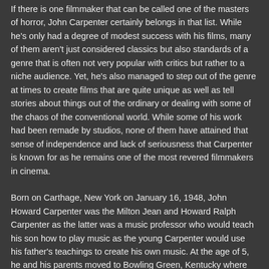If there is one filmmaker that can be called one of the masters of horror, John Carpenter certainly belongs in that list. While he's only had a degree of modest success with his films, many of them aren't just considered classics but also standards of a genre that is often not very popular with critics but rather to a niche audience. Yet, he's also managed to step out of the genre at times to create films that are quite unique as well as tell stories about things out of the ordinary or dealing with some of the chaos of the conventional world. While some of his work had been remade by studios, none of them have attained that sense of independence and lack of seriousness that Carpenter is known for as he remains one of the most revered filmmakers in cinema.
Born on Carthage, New York on January 16, 1948, John Howard Carpenter was the Milton Jean and Howard Ralph Carpenter as the latter was a music professor who would teach his son how to play music as the young Carpenter would use his father's teachings to create his own music. At the age of 5, he and his parents moved to Bowling Green, Kentucky where he came of age in his new surroundings that was filled with movie theatres. A mixture of classic westerns